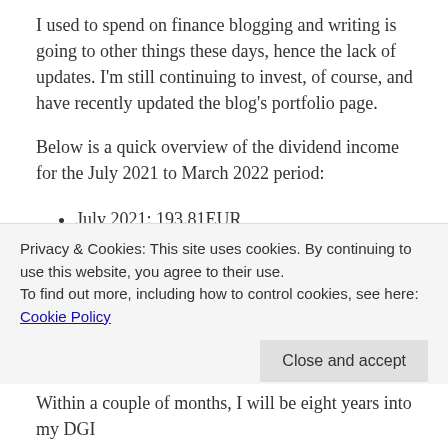I used to spend on finance blogging and writing is going to other things these days, hence the lack of updates. I'm still continuing to invest, of course, and have recently updated the blog's portfolio page.
Below is a quick overview of the dividend income for the July 2021 to March 2022 period:
July 2021: 193.81EUR
August 2021: 148.97EUR
September 2021: 209.84EUR
October 2021: 283.63EUR
November 2021: 76.10EUR
Privacy & Cookies: This site uses cookies. By continuing to use this website, you agree to their use.
To find out more, including how to control cookies, see here: Cookie Policy
Within a couple of months, I will be eight years into my DGI